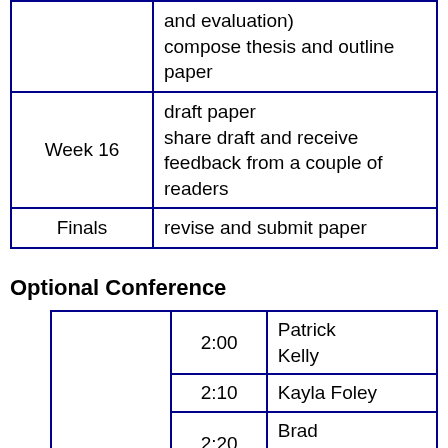| Week | Tasks |
| --- | --- |
|  | and evaluation)
compose thesis and outline paper |
| Week 16 | draft paper
share draft and receive feedback from a couple of readers |
| Finals | revise and submit paper |
Optional Conference
|  | Time | Name |
| --- | --- | --- |
|  | 2:00 | Patrick Kelly |
|  | 2:10 | Kayla Foley |
|  | 2:20 | Brad Williams |
|  | 2:30 | Anna Evert |